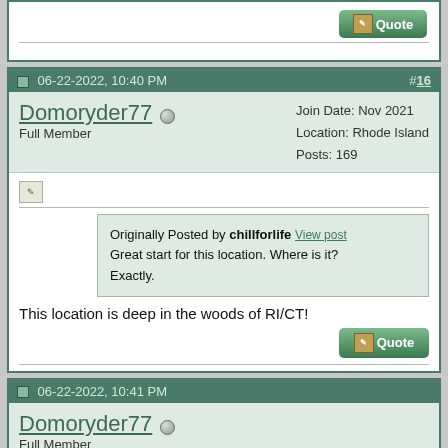06-22-2022, 10:40 PM  #16
Domoryder77 — Full Member
Join Date: Nov 2021
Location: Rhode Island
Posts: 169
Originally Posted by chillforlife View post
Great start for this location. Where is it? Exactly.
This location is deep in the woods of RI/CT!
06-22-2022, 10:41 PM
Domoryder77 — Full Member